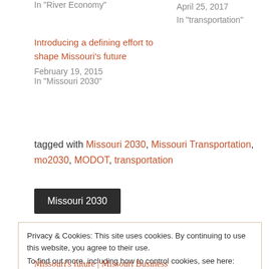In "River Economy"
April 25, 2017
In "transportation"
Introducing a defining effort to shape Missouri's future
February 19, 2015
In "Missouri 2030"
tagged with Missouri 2030, Missouri Transportation, mo2030, MODOT, transportation
Missouri 2030
Privacy & Cookies: This site uses cookies. By continuing to use this website, you agree to their use.
To find out more, including how to control cookies, see here: Cookie Policy
Close and accept
Missouri's future | Missouri Business